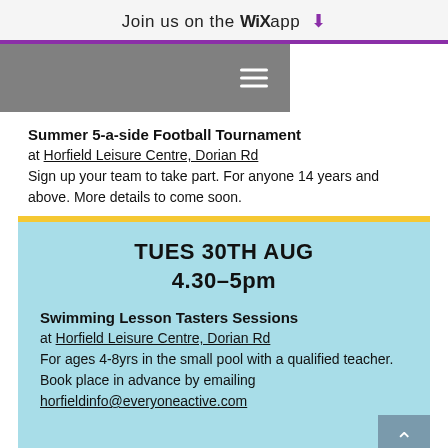Join us on the WiX app ⬇
[Figure (screenshot): Gray navigation bar with white hamburger menu icon on the right]
Summer 5-a-side Football Tournament
at Horfield Leisure Centre, Dorian Rd
Sign up your team to take part. For anyone 14 years and above. More details to come soon.
TUES 30TH AUG
4.30–5pm
Swimming Lesson Tasters Sessions
at Horfield Leisure Centre, Dorian Rd
For ages 4-8yrs in the small pool with a qualified teacher. Book place in advance by emailing horfieldinfo@everyoneactive.com
Regular Events
Mondays